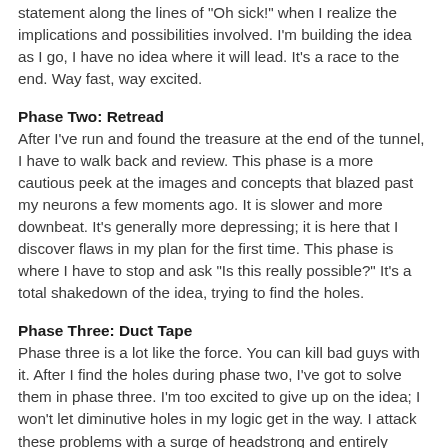statement along the lines of "Oh sick!" when I realize the implications and possibilities involved. I'm building the idea as I go, I have no idea where it will lead. It's a race to the end. Way fast, way excited.
Phase Two: Retread
After I've run and found the treasure at the end of the tunnel, I have to walk back and review. This phase is a more cautious peek at the images and concepts that blazed past my neurons a few moments ago. It is slower and more downbeat. It's generally more depressing; it is here that I discover flaws in my plan for the first time. This phase is where I have to stop and ask "Is this really possible?" It's a total shakedown of the idea, trying to find the holes.
Phase Three: Duct Tape
Phase three is a lot like the force. You can kill bad guys with it. After I find the holes during phase two, I've got to solve them in phase three. I'm too excited to give up on the idea; I won't let diminutive holes in my logic get in the way. I attack these problems with a surge of headstrong and entirely uncautious barrage of solutions. It is very common that these